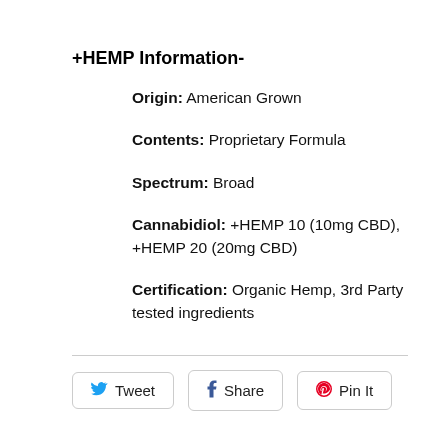+HEMP Information-
Origin: American Grown
Contents: Proprietary Formula
Spectrum: Broad
Cannabidiol: +HEMP 10 (10mg CBD), +HEMP 20 (20mg CBD)
Certification: Organic Hemp, 3rd Party tested ingredients
[Figure (other): Social sharing buttons: Tweet (Twitter), Share (Facebook), Pin It (Pinterest)]